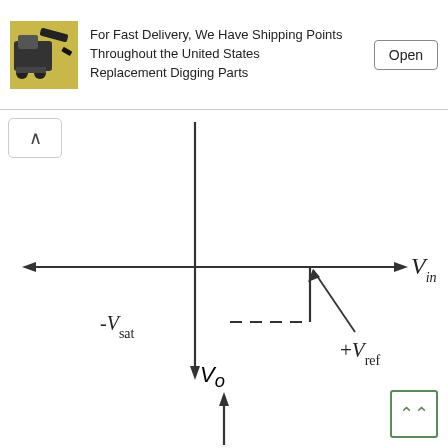[Figure (other): Advertisement banner: excavator/digger image, text 'For Fast Delivery, We Have Shipping Points Throughout the United States Replacement Digging Parts', and an Open button]
[Figure (engineering-diagram): Voltage comparator transfer characteristic diagram showing Vin on x-axis, Vo on y-axis. The output transitions from -Vsat (dashed line level) to 0 at +Vref on the input axis. Labels: Vin (x-axis), +Vref (threshold point), -Vsat (dashed horizontal line), Vo (y-axis label below x-axis).]